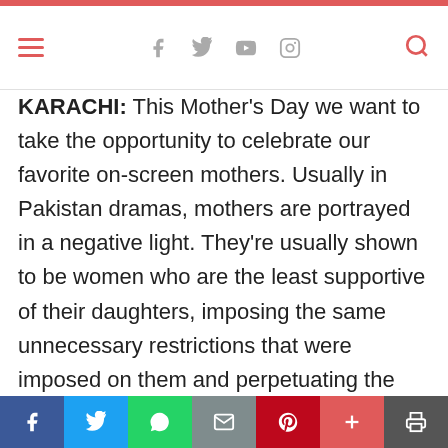Navigation header with hamburger menu, social icons (Facebook, Twitter, YouTube, Instagram), and search icon
KARACHI: This Mother's Day we want to take the opportunity to celebrate our favorite on-screen mothers. Usually in Pakistan dramas, mothers are portrayed in a negative light. They're usually shown to be women who are the least supportive of their daughters, imposing the same unnecessary restrictions that were imposed on them and perpetuating the stereotype that daughters are a burden. Either this, or mothers are shown to be helpless and voiceless. And so to take a break from this unfortunate portrayal of mothers, we decided to celebrate the top 5 on-screen mothers who have been a treat to watch. The mothers who cherished
Share bar: Facebook, Twitter, WhatsApp, Email, Pinterest, Plus, Print